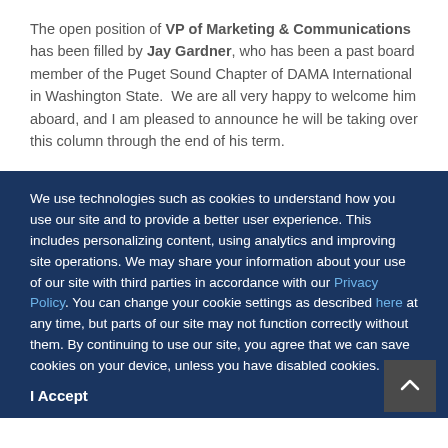The open position of VP of Marketing & Communications has been filled by Jay Gardner, who has been a past board member of the Puget Sound Chapter of DAMA International in Washington State. We are all very happy to welcome him aboard, and I am pleased to announce he will be taking over this column through the end of his term.
We use technologies such as cookies to understand how you use our site and to provide a better user experience. This includes personalizing content, using analytics and improving site operations. We may share your information about your use of our site with third parties in accordance with our Privacy Policy. You can change your cookie settings as described here at any time, but parts of our site may not function correctly without them. By continuing to use our site, you agree that we can save cookies on your device, unless you have disabled cookies.
I Accept